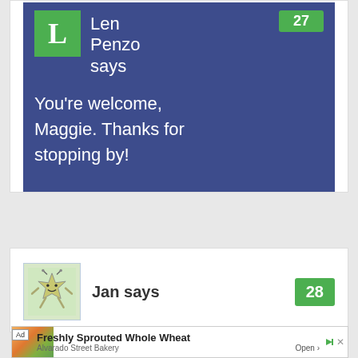[Figure (screenshot): Comment block from Len Penzo with green L avatar, number 27 badge, and reply text on dark blue background]
Len Penzo says
You're welcome, Maggie. Thanks for stopping by!
[Figure (screenshot): Comment entry from Jan with illustrated star character avatar and number 28 badge]
Jan says
[Figure (screenshot): Advertisement banner: Freshly Sprouted Whole Wheat by Alvarado Street Bakery with Open button]